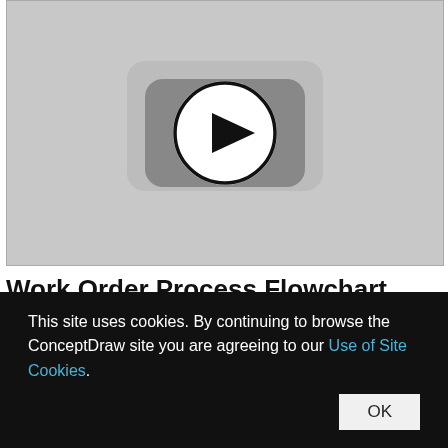[Figure (screenshot): Video thumbnail with YouTube-style play button icon on a gray background]
Work Order Process Flowchart.
This site uses cookies. By continuing to browse the ConceptDraw site you are agreeing to our Use of Site Cookies. OK